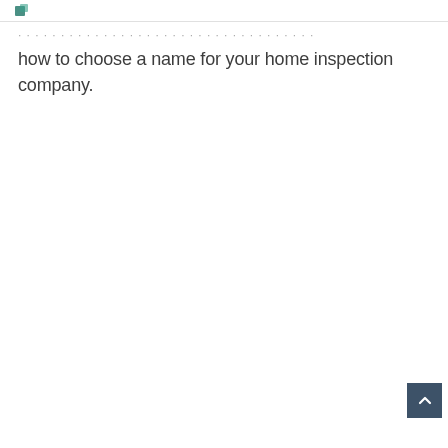how to choose a name for your home inspection company.